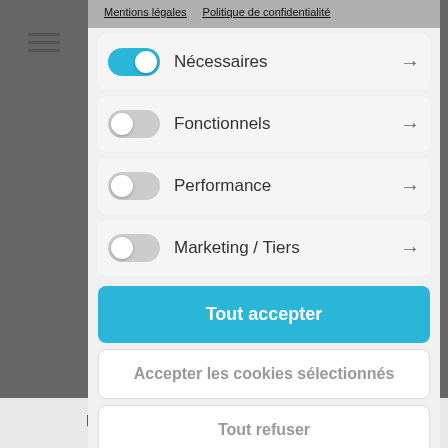Mentions légales   Politique de confidentialité
Nécessaires →
Fonctionnels →
Performance →
Marketing / Tiers →
Tout accepter
Accepter les cookies sélectionnés
Tout refuser
UPCOMING CONCERTS: